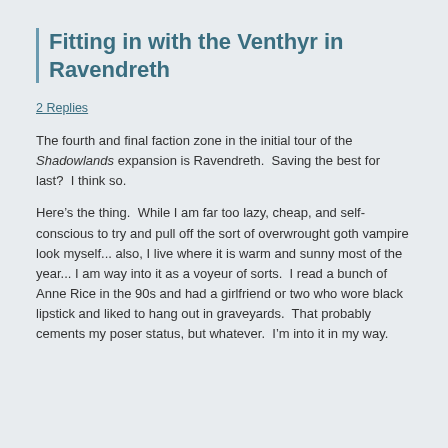Fitting in with the Venthyr in Ravendreth
2 Replies
The fourth and final faction zone in the initial tour of the Shadowlands expansion is Ravendreth.  Saving the best for last?  I think so.
Here’s the thing.  While I am far too lazy, cheap, and self-conscious to try and pull off the sort of overwrought goth vampire look myself... also, I live where it is warm and sunny most of the year... I am way into it as a voyeur of sorts.  I read a bunch of Anne Rice in the 90s and had a girlfriend or two who wore black lipstick and liked to hang out in graveyards.  That probably cements my poser status, but whatever.  I’m into it in my way.